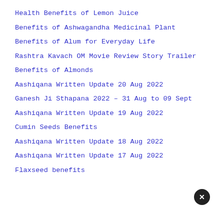Health Benefits of Lemon Juice
Benefits of Ashwagandha Medicinal Plant
Benefits of Alum for Everyday Life
Rashtra Kavach OM Movie Review Story Trailer
Benefits of Almonds
Aashiqana Written Update 20 Aug 2022
Ganesh Ji Sthapana 2022 – 31 Aug to 09 Sept
Aashiqana Written Update 19 Aug 2022
Cumin Seeds Benefits
Aashiqana Written Update 18 Aug 2022
Aashiqana Written Update 17 Aug 2022
Flaxseed benefits